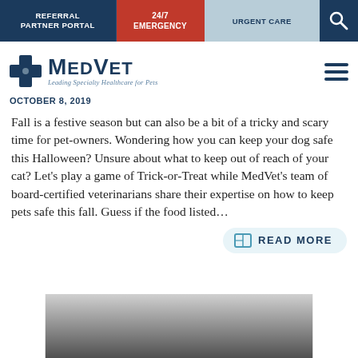REFERRAL PARTNER PORTAL | 24/7 EMERGENCY | URGENT CARE
[Figure (logo): MedVet logo with blue cross icon and tagline 'Leading Specialty Healthcare for Pets']
OCTOBER 8, 2019
Fall is a festive season but can also be a bit of a tricky and scary time for pet-owners. Wondering how you can keep your dog safe this Halloween? Unsure about what to keep out of reach of your cat? Let's play a game of Trick-or-Treat while MedVet's team of board-certified veterinarians share their expertise on how to keep pets safe this fall. Guess if the food listed…
READ MORE
[Figure (photo): Black and white photo of a dog (appears to be a puppy, possibly a Labrador) looking at the camera]